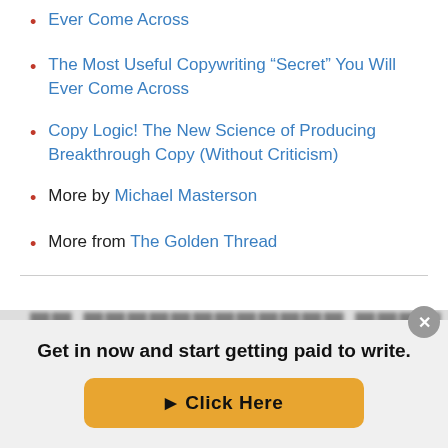Ever Come Across
The Most Useful Copywriting “Secret” You Will Ever Come Across
Copy Logic! The New Science of Producing Breakthrough Copy (Without Criticism)
More by Michael Masterson
More from The Golden Thread
Get in now and start getting paid to write.
▶ Click Here